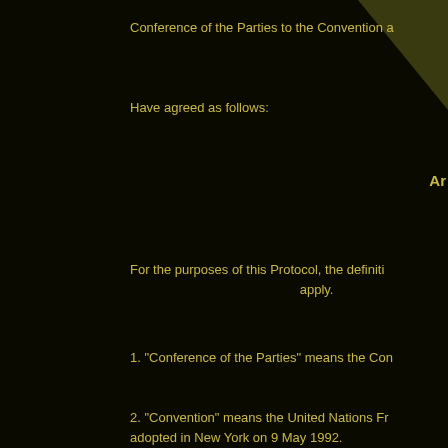Conference of the Parties to the Convention a
Have agreed as follows:
Ar
For the purposes of this Protocol, the definiti apply.
1. "Conference of the Parties" means the Con
2. "Convention" means the United Nations Fr adopted in New York on 9 May 1992.
3. "Intergovernmental Panel on Climate Char Climate Change established in 1988 jointly b United Nations Environment Programme.
4. "Montreal Protocol" means the Montreal P Layer, adopted in Montreal on 16 September
5. "Parties present and voting" means Parties vote.